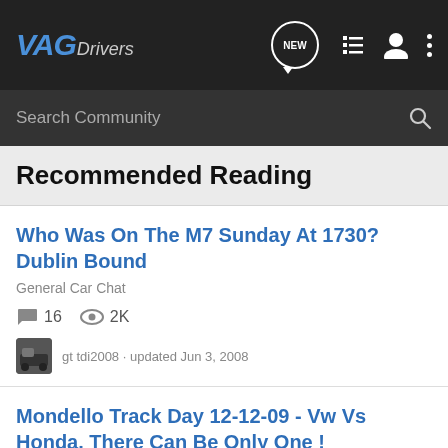VAGDrivers
Search Community
Recommended Reading
Who Was On The M7 Sunday At 1730? Dublin Bound
General Car Chat
16 comments · 2K views
gt tdi2008 · updated Jun 3, 2008
Mondello Track Day 12-12-09 - Vw Vs Honda. There Can Be Only One !
General Car Chat
14 comments · 3K views